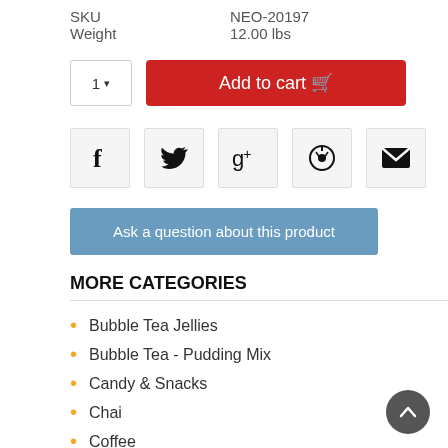SKU    NEO-20197
Weight    12.00 lbs
[Figure (screenshot): E-commerce add to cart section with quantity selector showing '1' and a red 'Add to cart' button with cart icon]
[Figure (infographic): Row of five social sharing buttons: Facebook (f), Twitter (bird), Google+ (g+), Pinterest (P), Email (envelope)]
Ask a question about this product
MORE CATEGORIES
Bubble Tea Jellies
Bubble Tea - Pudding Mix
Candy & Snacks
Chai
Coffee
Coffee - Italian Syrup